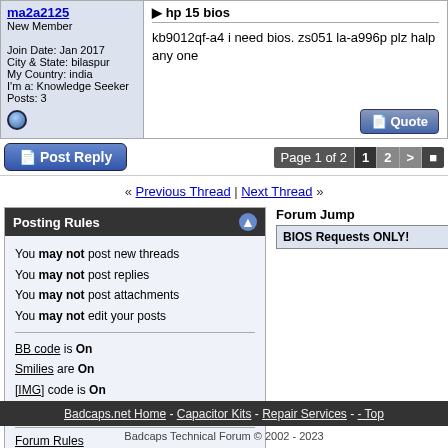ma2a2125
New Member

Join Date: Jan 2017
City & State: bilaspur
My Country: india
I'm a: Knowledge Seeker
Posts: 3
hp 15 bios

kb9012qf-a4 i need bios. zs051 la-a996p plz halp any one
Post Reply  Page 1 of 2  1  2  >
« Previous Thread | Next Thread »
Posting Rules
You may not post new threads
You may not post replies
You may not post attachments
You may not edit your posts
BB code is On
Smilies are On
[IMG] code is On
HTML code is Off
Forum Rules
Forum Jump
BIOS Requests ONLY!
Badcaps.net Home - Capacitor Kits - Repair Services - - Top